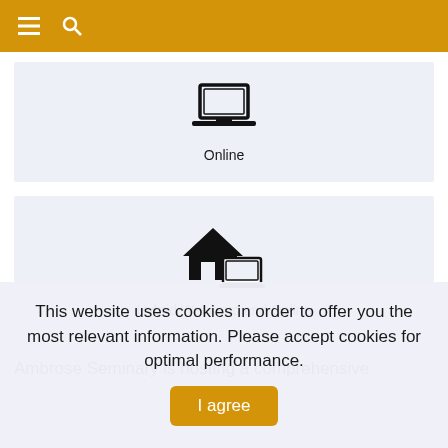≡ 🔍 (navigation bar)
[Figure (illustration): Laptop/monitor icon above the label 'Online']
Online
[Figure (illustration): House with laptop icon representing hybrid learning, above label 'Hybrid Weekend and Online']
Hybrid Weekend and Online
Ambrose Seminary is hosting a comprehensive
This website uses cookies in order to offer you the most relevant information. Please accept cookies for optimal performance.
I agree